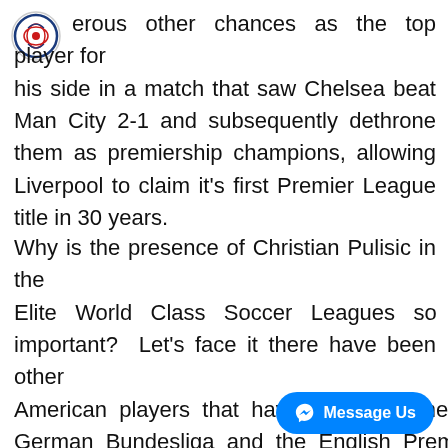[Figure (logo): Circular logo with red and blue soccer/football emblem]
erous other chances as the top player for his side in a match that saw Chelsea beat Man City 2-1 and subsequently dethrone them as premiership champions, allowing Liverpool to claim it's first Premier League title in 30 years.
Why is the presence of Christian Pulisic in the Elite World Class Soccer Leagues so important? Let's face it there have been other American players that have played in the German Bundesliga and the English Premier League. And although that is true, there has never been an American player